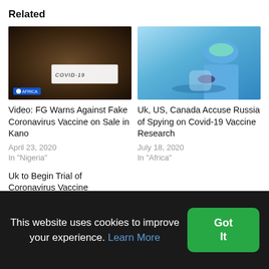Related
[Figure (photo): Dark-toned photo of hands holding a paper card that reads COVID-19, with Africa-related badge in bottom-left corner]
Video: FG Warns Against Fake Coronavirus Vaccine on Sale in Kano
April 23, 2020
In "Nigeria"
[Figure (photo): Photo of a person in blue protective suit and gloves working with laboratory equipment related to vaccine research]
Uk, US, Canada Accuse Russia of Spying on Covid-19 Vaccine Research
July 18, 2020
In "Africa"
Uk to Begin Trial of Coronavirus Vaccine Thursday as Death Toll
This website uses cookies to improve your experience. Learn More Got It